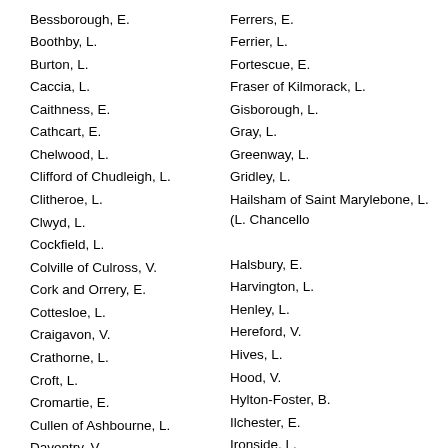Bessborough, E.
Boothby, L.
Burton, L.
Caccia, L.
Caithness, E.
Cathcart, E.
Chelwood, L.
Clifford of Chudleigh, L.
Clitheroe, L.
Clwyd, L.
Cockfield, L.
Colville of Culross, V.
Cork and Orrery, E.
Cottesloe, L.
Craigavon, V.
Crathorne, L.
Croft, L.
Cromartie, E.
Cullen of Ashbourne, L.
Daventry, V.
De Freyne, L.
De La Warr, E.
Denham, L. [Teller.]
Ferrers, E.
Ferrier, L.
Fortescue, E.
Fraser of Kilmorack, L.
Gisborough, L.
Gray, L.
Greenway, L.
Gridley, L.
Hailsham of Saint Marylebone, L. (L. Chancellor)
Halsbury, E.
Harvington, L.
Henley, L.
Hereford, V.
Hives, L.
Hood, V.
Hylton-Foster, B.
Ilchester, E.
Ironside, L.
Long, V.
Lonsdale, E.
Lucas of Chilworth, L.
Lyell, L.